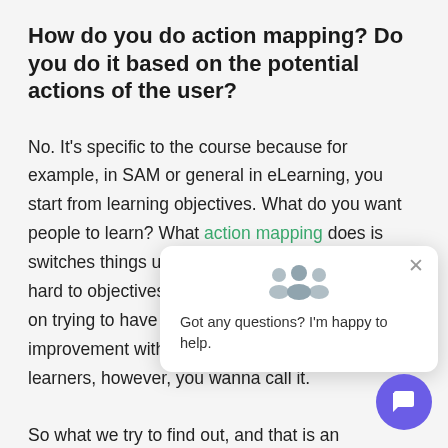How do you do action mapping? Do you do it based on the potential actions of the user?
No. It's specific to the course because for example, in SAM or general in eLearning, you start from learning objectives. What do you want people to learn? What action mapping does is switches things up a bit so you don't need to try hard to [fit] objectives. Action m[apping focuses] on trying to have a [measurable] improvement within your organization group learners, however, you wanna call it.
So what we try to find out, and that is an
[Figure (screenshot): Chat popup widget with group icon, close button, and text 'Got any questions? I'm happy to help.' with a purple circular chat button below.]